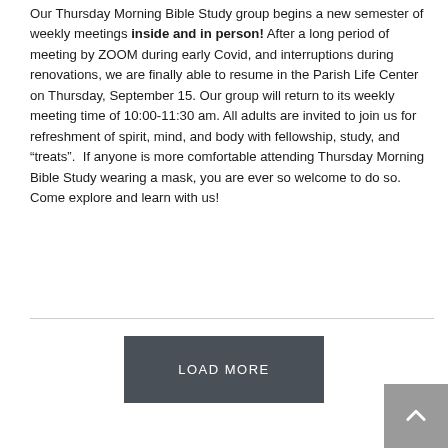Our Thursday Morning Bible Study group begins a new semester of weekly meetings inside and in person! After a long period of meeting by ZOOM during early Covid, and interruptions during renovations, we are finally able to resume in the Parish Life Center on Thursday, September 15. Our group will return to its weekly meeting time of 10:00-11:30 am. All adults are invited to join us for refreshment of spirit, mind, and body with fellowship, study, and “treats”.  If anyone is more comfortable attending Thursday Morning Bible Study wearing a mask, you are ever so welcome to do so. Come explore and learn with us!